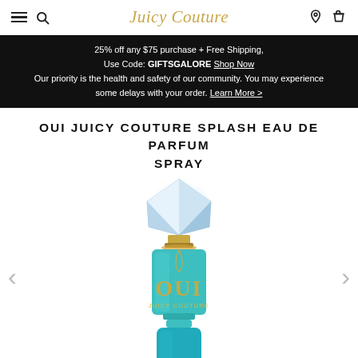Juicy Couture navigation bar with hamburger menu, search, logo, location pin, and cart icons
25% off any $75 purchase + Free Shipping, Use Code: GIFTSGALORE Shop Now Our priority is the health and safety of our community. You may experience some delays with your order. Learn More >
OUI JUICY COUTURE SPLASH EAU DE PARFUM SPRAY
[Figure (photo): Oui Juicy Couture Splash Eau de Parfum spray bottle with teal/turquoise square glass body, gold OUI lettering, gold cap details, and large faceted crystal/diamond-shaped cap on top]